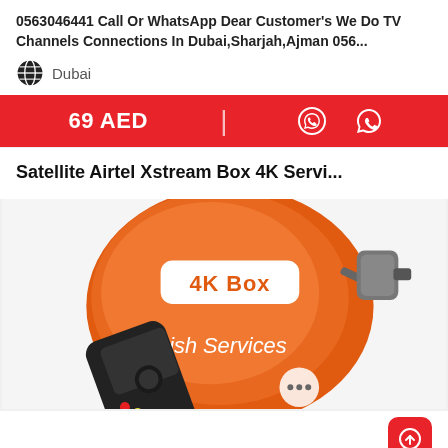0563046441 Call Or WhatsApp Dear Customer's We Do TV Channels Connections In Dubai,Sharjah,Ajman 056...
Dubai
69 AED
Satellite Airtel Xstream Box 4K Servi...
[Figure (photo): Orange satellite dish with '4K Box' label and 'Dish Services' text, accompanied by a black remote control and LNB arm. Set on white background.]
11 HOURS AGO